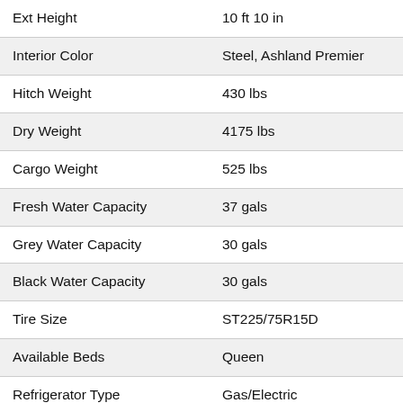| Specification | Value |
| --- | --- |
| Ext Height | 10 ft 10 in |
| Interior Color | Steel, Ashland Premier |
| Hitch Weight | 430 lbs |
| Dry Weight | 4175 lbs |
| Cargo Weight | 525 lbs |
| Fresh Water Capacity | 37 gals |
| Grey Water Capacity | 30 gals |
| Black Water Capacity | 30 gals |
| Tire Size | ST225/75R15D |
| Available Beds | Queen |
| Refrigerator Type | Gas/Electric |
| Refrigerator Size | 6 cu ft |
| Cooktop Burners | 2 |